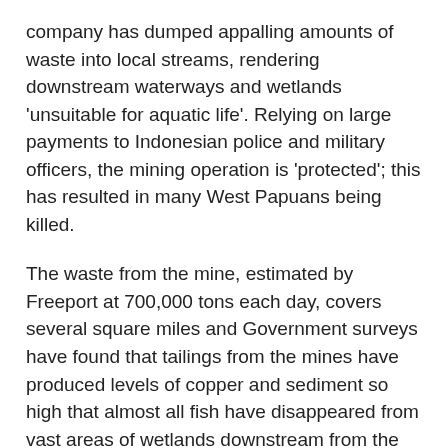company has dumped appalling amounts of waste into local streams, rendering downstream waterways and wetlands 'unsuitable for aquatic life'. Relying on large payments to Indonesian police and military officers, the mining operation is 'protected'; this has resulted in many West Papuans being killed.
The waste from the mine, estimated by Freeport at 700,000 tons each day, covers several square miles and Government surveys have found that tailings from the mines have produced levels of copper and sediment so high that almost all fish have disappeared from vast areas of wetlands downstream from the mine.
Like other powerful corporations in Indonesia (and elsewhere), Freeport-McMoRan is well aware that there is little official interest in its abuses of local people and the environment as